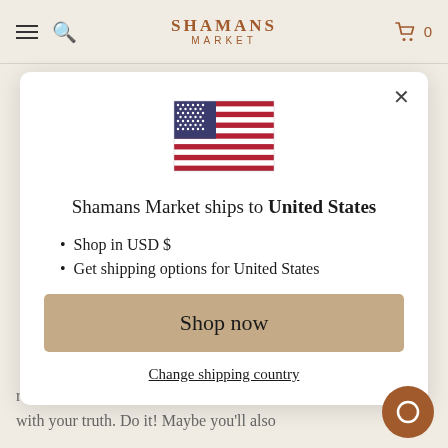SHAMANS MARKET
[Figure (illustration): US flag emoji/illustration centered in modal]
Shamans Market ships to United States
Shop in USD $
Get shipping options for United States
Shop now
Change shipping country
relationship or quit the job that does not with your truth. Do it! Maybe you'll also